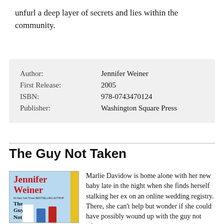unfurl a deep layer of secrets and lies within the community.
| Author: | Jennifer Weiner |
| First Release: | 2005 |
| ISBN: | 978-0743470124 |
| Publisher: | Washington Square Press |
The Guy Not Taken
[Figure (illustration): Book cover for 'The Guy Not Taken' by Jennifer Weiner, with a light blue background, the author's name in large red serif letters, a small yellow bar on the right, and three clothing items (white, blue, red) at the bottom.]
Marlie Davidow is home alone with her new baby late in the night when she finds herself stalking her ex on an online wedding registry. There, she can't help but wonder if she could have possibly wound up with the guy not taken.